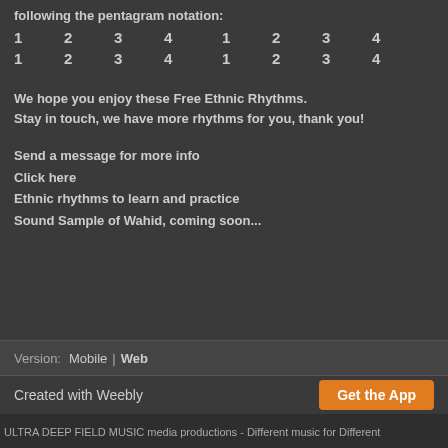following the pentagram notation:
1   2   3   4   1   2   3   4
1   2   3   4   1   2   3   4
We hope you enjoy these Free Ethnic Rhythms.
Stay in touch, we have more rhythms for you, thank you!
Send a message for more info
Click here
Ethnic rhythms to learn and practice
Sound Sample of Wahid, coming soon...
Version: Mobile | Web
Created with Weebly   Get the App
ULTRA DEEP FIELD MUSIC media productions - Different music for Different